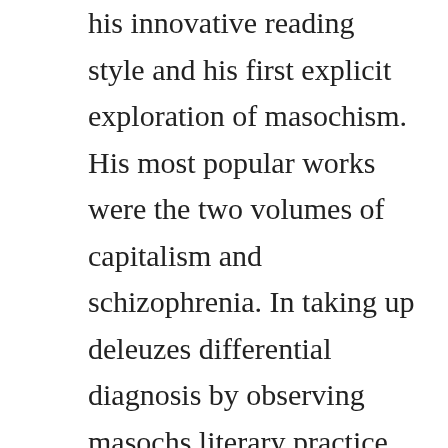his innovative reading style and his first explicit exploration of masochism. His most popular works were the two volumes of capitalism and schizophrenia. In taking up deleuzes differential diagnosis by observing masochs literary practice and extracting his libidinal principles of imperatives, contracts, fetishism and rituals, i demonstrate deleuzian libidinal symptomatology as a specific semiotics in the service of schizoanalysis. His published works include the paradox of cruelty 1969 and lest innocent blood be shed 1979. Mobi masochism coldness and cruelty